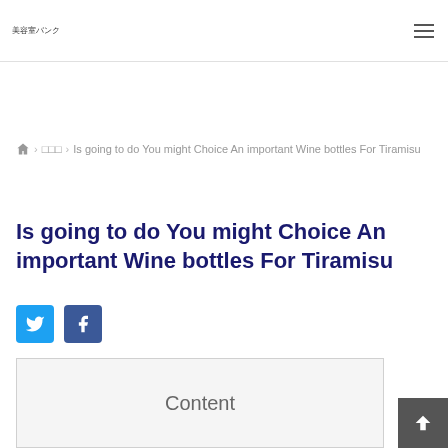美容室バンク
🏠 > □□□ > Is going to do You might Choice An important Wine bottles For Tiramisu
Is going to do You might Choice An important Wine bottles For Tiramisu
[Figure (other): Twitter and Facebook social share buttons]
Content